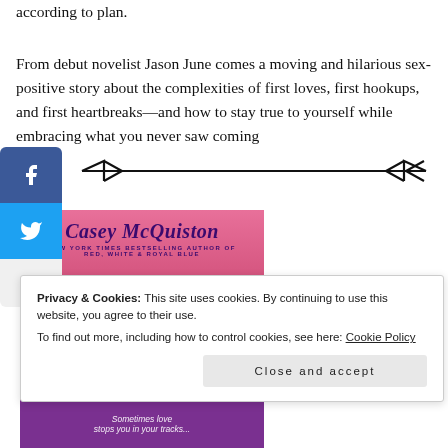according to plan.
From debut novelist Jason June comes a moving and hilarious sex-positive story about the complexities of first loves, first hookups, and first heartbreaks—and how to stay true to yourself while embracing what you never saw coming
[Figure (illustration): Decorative double arrow divider line]
[Figure (illustration): Social media share sidebar with Facebook (blue), Twitter (blue), and plus buttons]
[Figure (photo): Book cover showing Casey McQuiston, New York Times Bestselling Author of Red, White & Royal Blue, with the word ONE in large white letters on a pink/magenta background]
Privacy & Cookies: This site uses cookies. By continuing to use this website, you agree to their use.
To find out more, including how to control cookies, see here: Cookie Policy
Close and accept